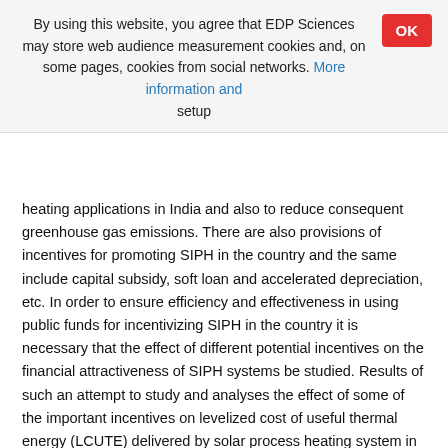By using this website, you agree that EDP Sciences may store web audience measurement cookies and, on some pages, cookies from social networks. More information and setup
heating applications in India and also to reduce consequent greenhouse gas emissions. There are also provisions of incentives for promoting SIPH in the country and the same include capital subsidy, soft loan and accelerated depreciation, etc. In order to ensure efficiency and effectiveness in using public funds for incentivizing SIPH in the country it is necessary that the effect of different potential incentives on the financial attractiveness of SIPH systems be studied. Results of such an attempt to study and analyses the effect of some of the important incentives on levelized cost of useful thermal energy (LCUTE) delivered by solar process heating system in dairy industry in India is presented in this paper.
1.1 Potential incentives for solar industrial